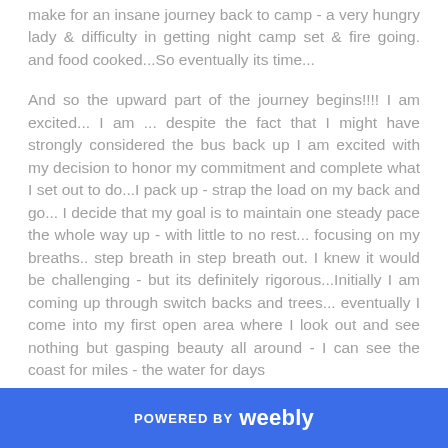make for an insane journey back to camp - a very hungry lady & difficulty in getting night camp set & fire going. and food cooked...So eventually its time...
And so the upward part of the journey begins!!!! I am excited... I am ... despite the fact that I might have strongly considered the bus back up I am excited with my decision to honor my commitment and complete what I set out to do...I pack up - strap the load on my back and go... I decide that my goal is to maintain one steady pace the whole way up - with little to no rest... focusing on my breaths.. step breath in step breath out. I knew it would be challenging - but its definitely rigorous...Initially I am coming up through switch backs and trees... eventually I come into my first open area where I look out and see nothing but gasping beauty all around - I can see the coast for miles - the water for days
POWERED BY weebly